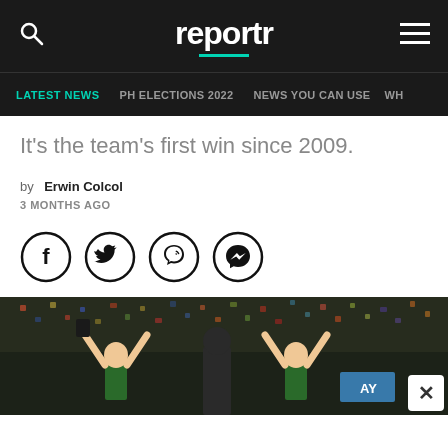reportr
LATEST NEWS  PH ELECTIONS 2022  NEWS YOU CAN USE  WH
It's the team's first win since 2009.
by Erwin Colcol
3 MONTHS AGO
[Figure (illustration): Four social media share icons in circles: Facebook, Twitter, Viber, Messenger]
[Figure (photo): Athletes in green uniforms celebrating with arms raised in stadium with crowd in background]